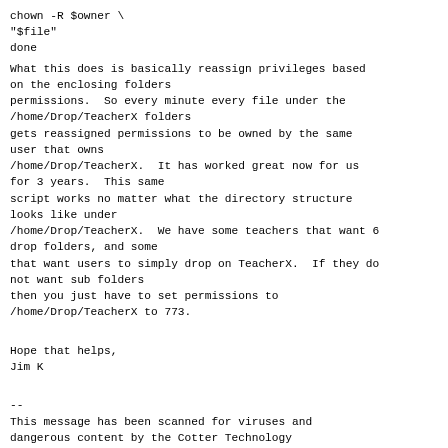chown -R $owner \
"$file"
done
What this does is basically reassign privileges based
on the enclosing folders
permissions.  So every minute every file under the
/home/Drop/TeacherX folders
gets reassigned permissions to be owned by the same
user that owns
/home/Drop/TeacherX.  It has worked great now for us
for 3 years.  This same
script works no matter what the directory structure
looks like under
/home/Drop/TeacherX.  We have some teachers that want 6
drop folders, and some
that want users to simply drop on TeacherX.  If they do
not want sub folders
then you just have to set permissions to
/home/Drop/TeacherX to 773.
Hope that helps,
Jim K
--
This message has been scanned for viruses and
dangerous content by the Cotter Technology
Department, and is believed to be clean.